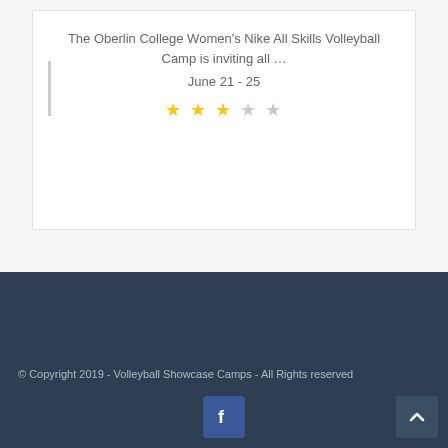The Oberlin College Women's Nike All Skills Volleyball Camp is inviting all … June 21 - 25
[Figure (other): Star rating showing 3 out of 5 stars (3 filled yellow stars, 2 empty grey stars)]
© Copyright 2019 - Volleyball Showcase Camps - All Rights reserved